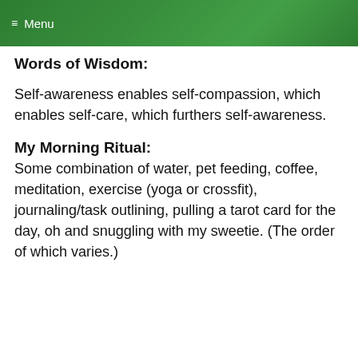≡ Menu
Words of Wisdom:
Self-awareness enables self-compassion, which enables self-care, which furthers self-awareness.
My Morning Ritual:
Some combination of water, pet feeding, coffee, meditation, exercise (yoga or crossfit), journaling/task outlining, pulling a tarot card for the day, oh and snuggling with my sweetie. (The order of which varies.)